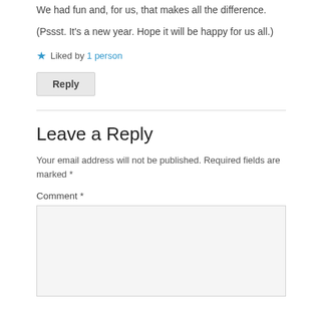We had fun and, for us, that makes all the difference.
(Pssst. It's a new year. Hope it will be happy for us all.)
★ Liked by 1 person
Reply
Leave a Reply
Your email address will not be published. Required fields are marked *
Comment *